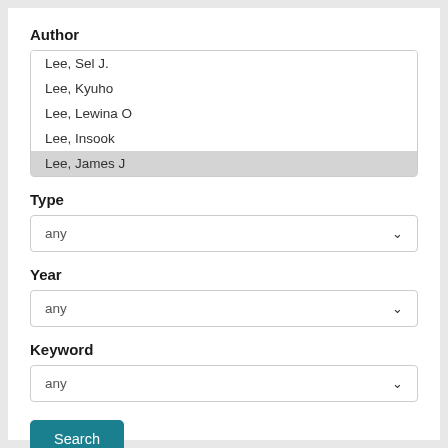Author
Lee, Sel J.
Lee, Kyuho
Lee, Lewina O
Lee, Insook
Lee, James J
Type
any
Year
any
Keyword
any
Search